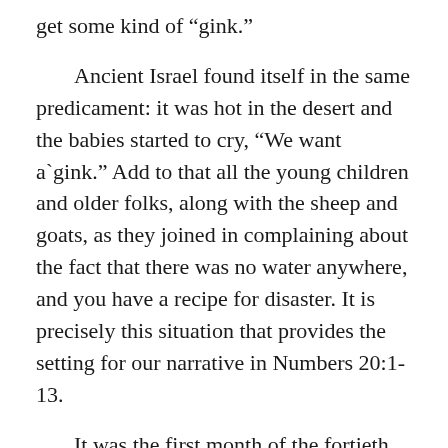get some kind of “gink.”
Ancient Israel found itself in the same predicament: it was hot in the desert and the babies started to cry, “We want a`gink.” Add to that all the young children and older folks, along with the sheep and goats, as they joined in complaining about the fact that there was no water anywhere, and you have a recipe for disaster. It is precisely this situation that provides the setting for our narrative in Numbers 20:1-13.
It was the first month of the fortieth year of wandering in the wilderness. The whole preceding generation of rebels had died off (Num. 14:32-35), and it was now time for a whole new advance for the promises of God as the Israelites prepared to enter the promised